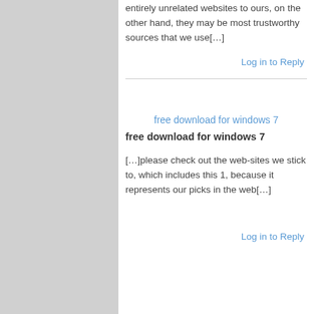entirely unrelated websites to ours, on the other hand, they may be most trustworthy sources that we use[…]
Log in to Reply
free download for windows 7
free download for windows 7
[…]please check out the web-sites we stick to, which includes this 1, because it represents our picks in the web[…]
Log in to Reply